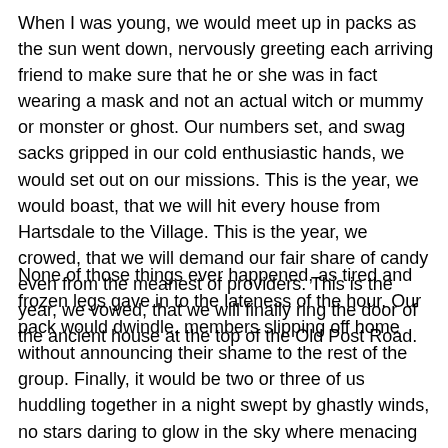When I was young, we would meet up in packs as the sun went down, nervously greeting each arriving friend to make sure that he or she was in fact wearing a mask and not an actual witch or mummy or monster or ghost. Our numbers set, and swag sacks gripped in our cold enthusiastic hands, we would set out on our missions. This is the year, we would boast, that we will hit every house from Hartsdale to the Village. This is the year, we crowed, that we will demand our fair share of candy even from the meanest of providers. This is the year, we vowed, that we will finally ring the door of the ancient house at the top of the Old Post Road.
None of those things ever happened, as tired and frozen legs gave in to the lateness of the hour. Our pack would dwindle, members slipping off home without announcing their shame to the rest of the group. Finally, it would be two or three of us huddling together in a night swept by ghastly winds, no stars daring to glow in the sky where menacing clouds or spirits would cover the moon. We would stomp along in brave exhaustion, silent as the tomb lest we attract the attention of some hideous creature of the night. We would walk in the middle of the road so nothing could grab